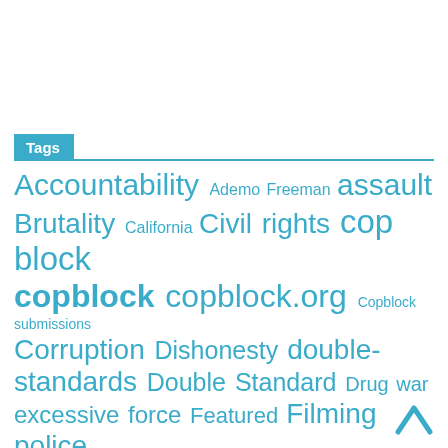Tags
Accountability Ademo Freeman assault Brutality California Civil rights cop block copblock copblock.org Copblock submissions Corruption Dishonesty double-standards Double Standard Drug war excessive force Featured Filming police